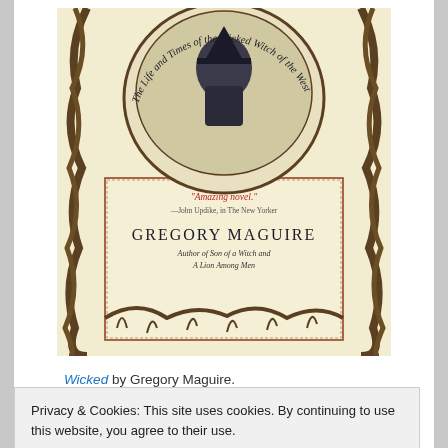[Figure (illustration): Book cover of 'Wicked: The Life and Times of the Wicked Witch of the West' by Gregory Maguire. Cream/yellow background with illustrated vine-like border, a circular portrait of the witch at top, title text curved around the portrait, quote 'Amazing novel.' attributed to John Updike in The New Yorker, and author name GREGORY MAGUIRE, Author of Son of a Witch and A Lion Among Men.]
Wicked by Gregory Maguire.
Privacy & Cookies: This site uses cookies. By continuing to use this website, you agree to their use.
To find out more, including how to control cookies, see here: Cookie Policy
are good friends but unfortunately love the same man.